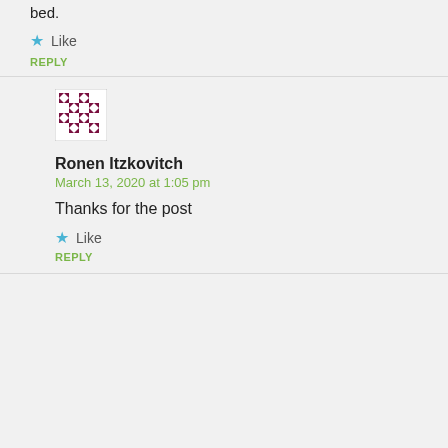bed.
Like
REPLY
[Figure (illustration): Geometric avatar with dark red/maroon pattern on white, used as commenter profile picture for Ronen Itzkovitch]
Ronen Itzkovitch
March 13, 2020 at 1:05 pm
Thanks for the post
Like
REPLY